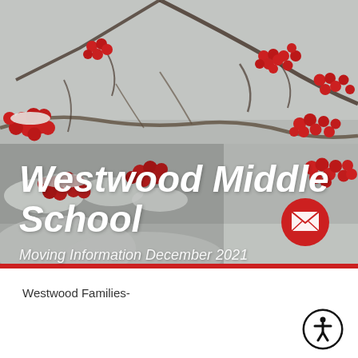[Figure (photo): Winter photograph of red berries covered in snow on bare branches against a grey sky background, serving as the hero image for Westwood Middle School newsletter]
Westwood Middle School
Moving Information December 2021
[Figure (illustration): Red circular button with white envelope/mail icon]
Westwood Families-
[Figure (illustration): Black circular accessibility button with white wheelchair/person icon]